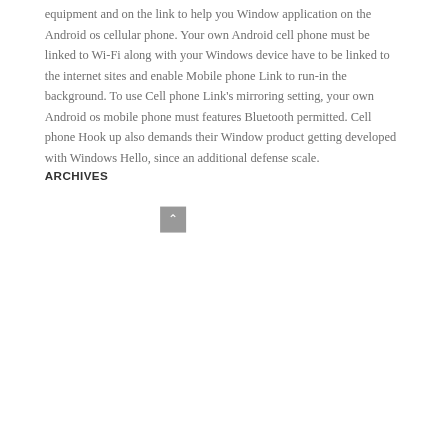equipment and on the link to help you Window application on the Android os cellular phone. Your own Android cell phone must be linked to Wi-Fi along with your Windows device have to be linked to the internet sites and enable Mobile phone Link to run-in the background. To use Cell phone Link's mirroring setting, your own Android os mobile phone must features Bluetooth permitted. Cell phone Hook up also demands their Window product getting developed with Windows Hello, since an additional defense scale.
ARCHIVES